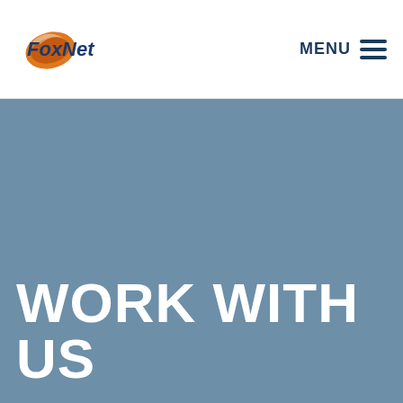[Figure (logo): FoxNet company logo with orange swoosh and blue text on white header background]
MENU
WORK WITH US